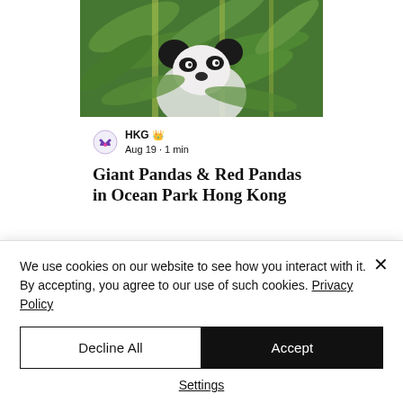[Figure (photo): Giant panda lying among green bamboo leaves and plants]
HKG   Aug 19 · 1 min
Giant Pandas & Red Pandas in Ocean Park Hong Kong
We use cookies on our website to see how you interact with it. By accepting, you agree to our use of such cookies. Privacy Policy
Decline All
Accept
Settings